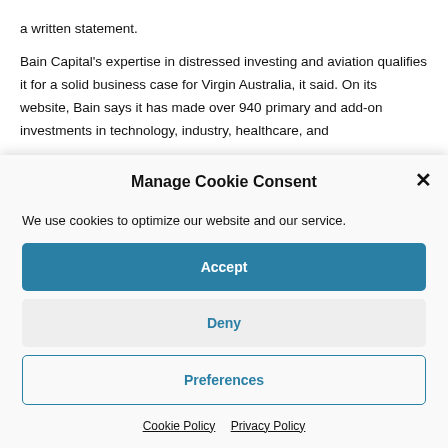a written statement.
Bain Capital's expertise in distressed investing and aviation qualifies it for a solid business case for Virgin Australia, it said. On its website, Bain says it has made over 940 primary and add-on investments in technology, industry, healthcare, and
Manage Cookie Consent
We use cookies to optimize our website and our service.
Accept
Deny
Preferences
Cookie Policy  Privacy Policy